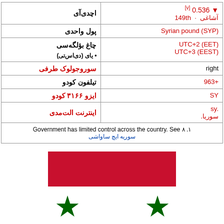| label | value |
| --- | --- |
| اچدیآی | ▼ 0.536 [v] (2016)
آشاغی · 149th |
| پول واحدی | Syrian pound (SYP) |
| چاغ بؤلگه‌سی | UTC+2 (EET) |
| • یای (دی‌اس‌تی) | UTC+3 (EEST) |
| سوروجولوک طرفی | right |
| تیلفون کودو | +963 |
| ایزو ۳۱۶۶ کودو | SY |
| اینترنت الت‌مدی | sy.
.سوریا |
|  | Government has limited control across the country. See ۸ .۱
سوریه ایچ ساواشی |
[Figure (illustration): Syrian flag - top red stripe and two green stars partially visible at bottom]